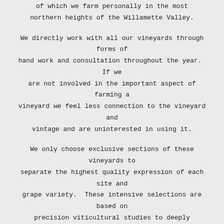of which we farm personally in the most northern heights of the Willamette Valley.
We directly work with all our vineyards through forms of hand work and consultation throughout the year.  If we are not involved in the important aspect of farming a vineyard we feel less connection to the vineyard and vintage and are uninterested in using it.
We only choose exclusive sections of these vineyards to separate the highest quality expression of each site and grape variety.  These intensive selections are based on precision viticultural studies to deeply understand the highest potential of each micro parcel through its soils, winds, slopes, vigor, cover crop, surrounding geological elements and trials in our cellar.
All vineyards are dry farmed and undergo a rigorous